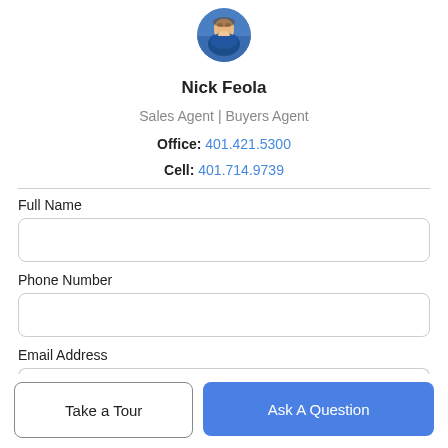[Figure (photo): Circular profile photo of Nick Feola, a real estate agent, partially cropped at top]
Nick Feola
Sales Agent | Buyers Agent
Office: 401.421.5300
Cell: 401.714.9739
Full Name
Phone Number
Email Address
Take a Tour
Ask A Question